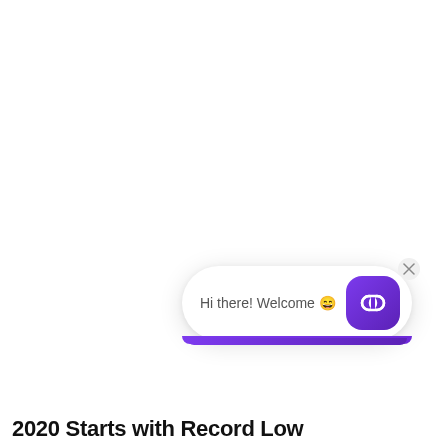[Figure (screenshot): A chat widget popup in the bottom-right corner showing 'Hi there! Welcome 😄' with a purple rounded-square icon featuring two overlapping circles (chain link), and a close button (×) in the top-right of the widget.]
2020 Starts with Record Low